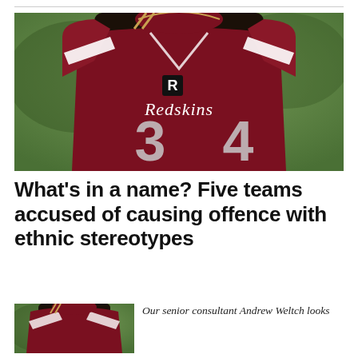[Figure (photo): Close-up of a football player wearing a dark maroon/burgundy Redskins jersey with the number 34, Russell Athletic logo visible on chest, shoulder pads visible, blurred green background.]
What’s in a name? Five teams accused of causing offence with ethnic stereotypes
[Figure (photo): Partial view of same football player in Redskins jersey, cropped to left side of frame.]
Our senior consultant Andrew Weltch looks